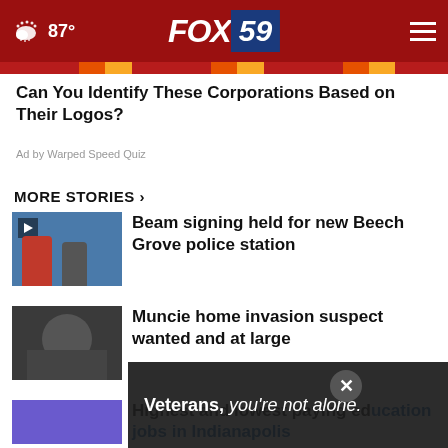FOX 59 — 87° weather
Can You Identify These Corporations Based on Their Logos?
Ad by Warped Speed Quiz
MORE STORIES ›
Beam signing held for new Beech Grove police station
Muncie home invasion suspect wanted and at large
Highest and lowest paying education jobs in Indianapolis
Lafayette crash
Veterans, you're not alone.